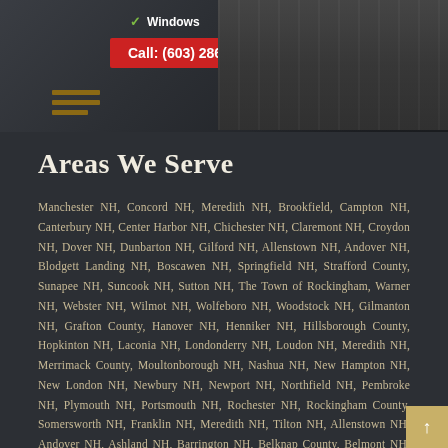[Figure (screenshot): Top banner of a website showing checkmarks next to 'Windows' and 'and more!', a red call button with phone number (603) 286-4414, hamburger menu lines, and a building photo on the right side.]
Areas We Serve
Manchester NH, Concord NH, Meredith NH, Brookfield, Campton NH, Canterbury NH, Center Harbor NH, Chichester NH, Claremont NH, Croydon NH, Dover NH, Dunbarton NH, Gilford NH, Allenstown NH, Andover NH, Blodgett Landing NH, Boscawen NH, Springfield NH, Strafford County, Sunapee NH, Suncook NH, Sutton NH, The Town of Rockingham, Warner NH, Webster NH, Wilmot NH, Wolfeboro NH, Woodstock NH, Gilmanton NH, Grafton County, Hanover NH, Henniker NH, Hillsborough County, Hopkinton NH, Laconia NH, Londonderry NH, Loudon NH, Meredith NH, Merrimack County, Moultonborough NH, Nashua NH, New Hampton NH, New London NH, Newbury NH, Newport NH, Northfield NH, Pembroke NH, Plymouth NH, Portsmouth NH, Rochester NH, Rockingham County, Somersworth NH, Franklin NH, Meredith NH, Tilton NH, Allenstown NH, Andover NH, Ashland NH, Barrington NH, Belknap County, Belmont NH, Boscawen NH, Bradford